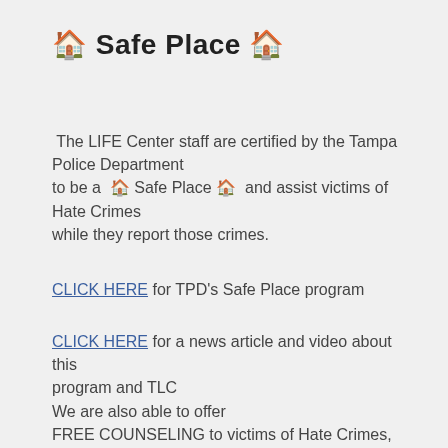🏠 Safe Place 🏠
The LIFE Center staff are certified by the Tampa Police Department to be a 🏠 Safe Place 🏠 and assist victims of Hate Crimes while they report those crimes.
CLICK HERE for TPD's Safe Place program
CLICK HERE for a news article and video about this program and TLC
We are also able to offer FREE COUNSELING to victims of Hate Crimes, thanks to our Victims of Crime Act grant. For more...